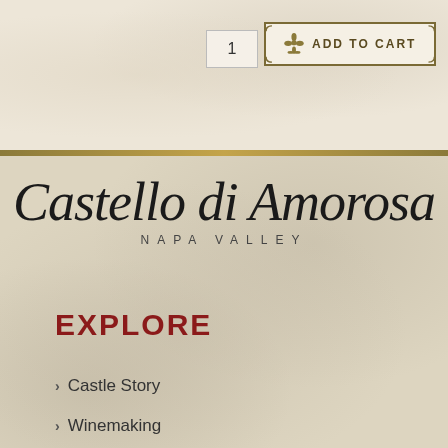1
ADD TO CART
Castello di Amorosa
NAPA VALLEY
EXPLORE
Castle Story
Winemaking